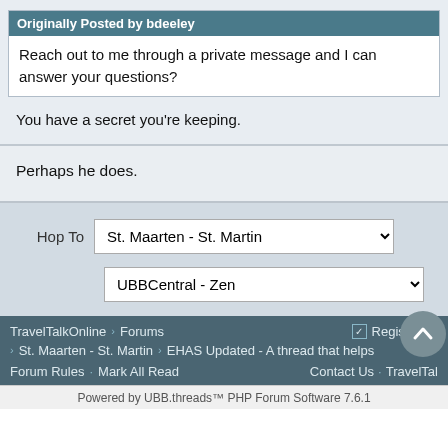Originally Posted by bdeeley
Reach out to me through a private message and I can answer your questions?
You have a secret you're keeping.
Perhaps he does.
Hop To   St. Maarten - St. Martin
UBBCentral - Zen
TravelTalkOnline › Forums › St. Maarten - St. Martin › EHAS Updated - A thread that helps  Forum Rules · Mark All Read  Contact Us · TravelTal  Powered by UBB.threads™ PHP Forum Software 7.6.1